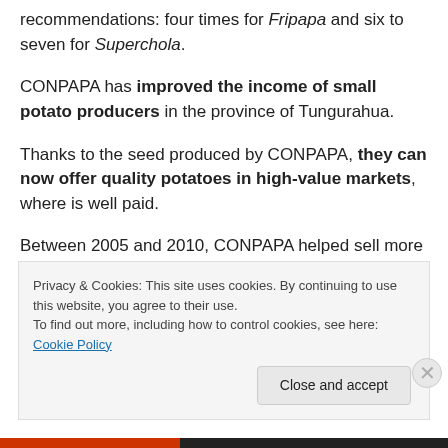recommendations: four times for Fripapa and six to seven for Superchola.
CONPAPA has improved the income of small potato producers in the province of Tungurahua.
Thanks to the seed produced by CONPAPA, they can now offer quality potatoes in high-value markets, where is well paid.
Between 2005 and 2010, CONPAPA helped sell more than 4,000 tons of potatoes, worth US$1,340,408 and profits
Privacy & Cookies: This site uses cookies. By continuing to use this website, you agree to their use. To find out more, including how to control cookies, see here: Cookie Policy
Close and accept